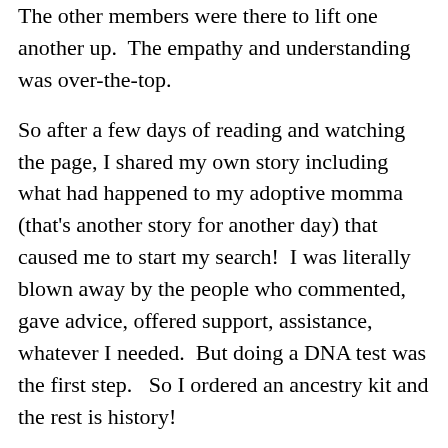The other members were there to lift one another up. The empathy and understanding was over-the-top.
So after a few days of reading and watching the page, I shared my own story including what had happened to my adoptive momma (that's another story for another day) that caused me to start my search!  I was literally blown away by the people who commented, gave advice, offered support, assistance, whatever I needed.  But doing a DNA test was the first step.   So I ordered an ancestry kit and the rest is history!
I hope you will return so I can tell you how much this has changed my life…and how it has changed me!! And the many things that I have learned in the process.  It has definitely been the most adventurous journey I have been on…and it still continues today.